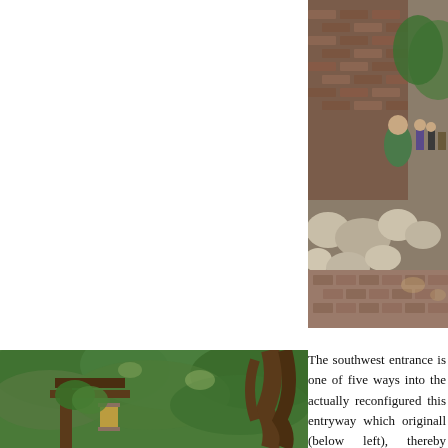[Figure (photo): Photograph of a brick and stone wall along a brick pathway, with people visible in the background walking through what appears to be a park or garden area.]
The southwest entrance is one of five ways into the actually reconfigured this entryway which originall (below left), thereby improving the flow from the wa and dressing it up with a grand a portico (below right
[Figure (photo): Photograph of a rustic wooden structure covered in lush green ivy and vines, with a lantern visible and large tree roots/trunk on the right side.]